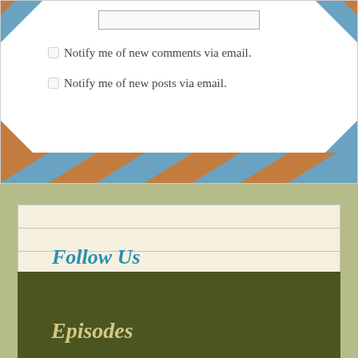Notify me of new comments via email.
Notify me of new posts via email.
Follow Us
Episodes